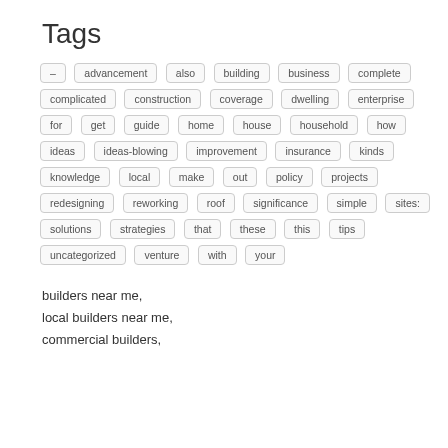Tags
–
advancement
also
building
business
complete
complicated
construction
coverage
dwelling
enterprise
for
get
guide
home
house
household
how
ideas
ideas-blowing
improvement
insurance
kinds
knowledge
local
make
out
policy
projects
redesigning
reworking
roof
significance
simple
sites:
solutions
strategies
that
these
this
tips
uncategorized
venture
with
your
builders near me,
local builders near me,
commercial builders,